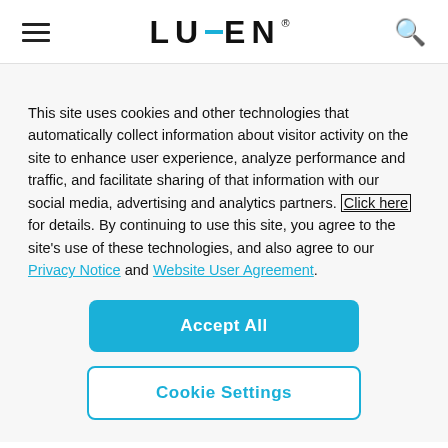LUMEN
This site uses cookies and other technologies that automatically collect information about visitor activity on the site to enhance user experience, analyze performance and traffic, and facilitate sharing of that information with our social media, advertising and analytics partners. Click here for details. By continuing to use this site, you agree to the site's use of these technologies, and also agree to our Privacy Notice and Website User Agreement.
Accept All
Cookie Settings